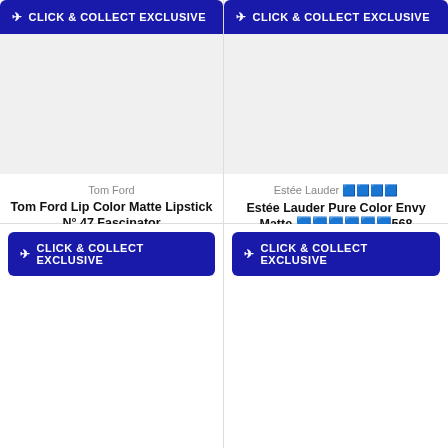✈ CLICK & COLLECT EXCLUSIVE
[Figure (photo): Product image placeholder for Tom Ford Lip Color Matte Lipstick - light gray background]
Tom Ford
Tom Ford Lip Color Matte Lipstick N° 47 Fascinator
€49.90
€1,663.33 / 100 g
✈ CLICK & COLLECT EXCLUSIVE
[Figure (photo): Product image placeholder for Estée Lauder Pure Color Envy Matte - light gray background]
Estée Lauder 립스틱
Estée Lauder Pure Color Envy Matte 립스틱568 Exceptional
€34.90
€997.14 / 100 g
✈ CLICK & COLLECT EXCLUSIVE
✈ CLICK & COLLECT EXCLUSIVE